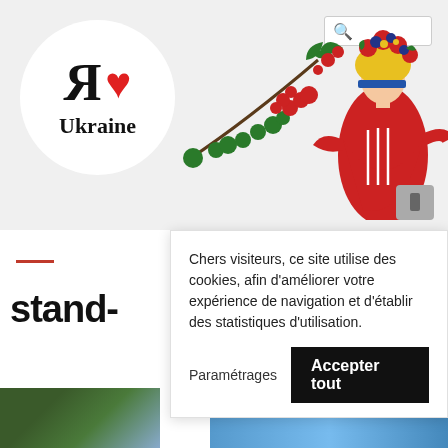[Figure (screenshot): Website header with 'R love Ukraine' logo in white circle, decorative Ukrainian woman illustration with flowers, and search box in top right]
Chers visiteurs, ce site utilise des cookies, afin d'améliorer votre expérience de navigation et d'établir des statistiques d'utilisation.
Paramétrages
Accepter tout
stand-
[Figure (photo): Bottom image strip showing partial photos]